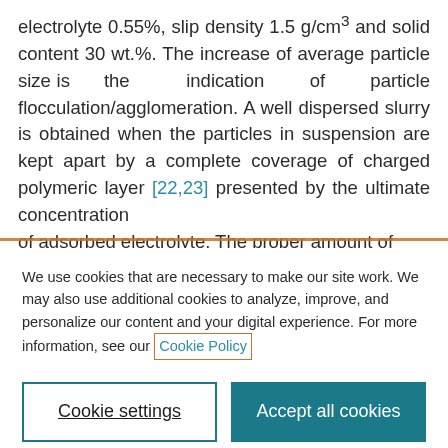electrolyte 0.55%, slip density 1.5 g/cm³ and solid content 30 wt.%. The increase of average particle size is the indication of particle flocculation/agglomeration. A well dispersed slurry is obtained when the particles in suspension are kept apart by a complete coverage of charged polymeric layer [22,23] presented by the ultimate concentration of adsorbed electrolyte. The proper amount of
We use cookies that are necessary to make our site work. We may also use additional cookies to analyze, improve, and personalize our content and your digital experience. For more information, see our Cookie Policy